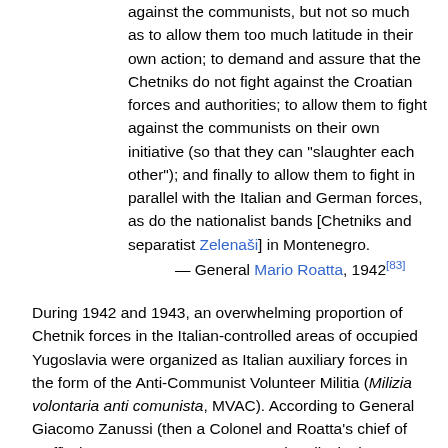against the communists, but not so much as to allow them too much latitude in their own action; to demand and assure that the Chetniks do not fight against the Croatian forces and authorities; to allow them to fight against the communists on their own initiative (so that they can "slaughter each other"); and finally to allow them to fight in parallel with the Italian and German forces, as do the nationalist bands [Chetniks and separatist Zelenaši] in Montenegro.
— General Mario Roatta, 1942[83]
During 1942 and 1943, an overwhelming proportion of Chetnik forces in the Italian-controlled areas of occupied Yugoslavia were organized as Italian auxiliary forces in the form of the Anti-Communist Volunteer Militia (Milizia volontaria anti comunista, MVAC). According to General Giacomo Zanussi (then a Colonel and Roatta's chief of staff), there were 19,000 to 20,000 Chetniks in the MVAC in Italian-occupied parts of the Independent State of Croatia alone. The Chetniks were extensively supplied with thousands of rifles, grenades, mortars and artillery pieces. In a memorandum dated 26 March 1943 to the Italian Army General